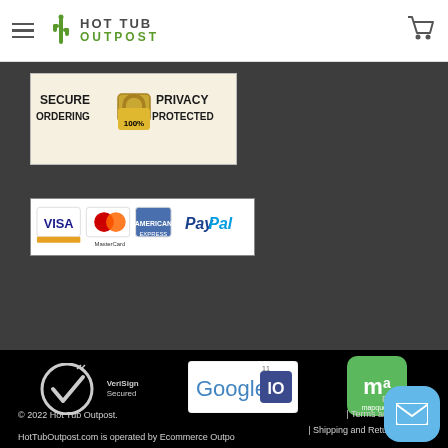HOT TUB OUTPOST
[Figure (logo): Secure Ordering 100% Privacy Protected badge with padlock]
[Figure (logo): Payment methods: Visa, MasterCard, American Express, PayPal]
[Figure (logo): VeriSign Secured logo]
[Figure (logo): Google I/O logo]
[Figure (logo): MapQuest logo]
Privacy Policy | Terms and Conditions | Shipping and Returns | Contact
© 2022 Hot Tub Outpost.
HotTubOutpost.com is operated by Ecommerce Outpo